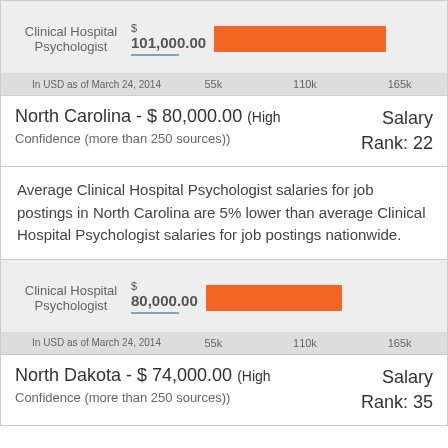[Figure (bar-chart): Clinical Hospital Psychologist]
North Carolina - $ 80,000.00 (High Confidence (more than 250 sources))
Salary Rank: 22
Average Clinical Hospital Psychologist salaries for job postings in North Carolina are 5% lower than average Clinical Hospital Psychologist salaries for job postings nationwide.
[Figure (bar-chart): Clinical Hospital Psychologist]
North Dakota - $ 74,000.00 (High Confidence (more than 250 sources))
Salary Rank: 35